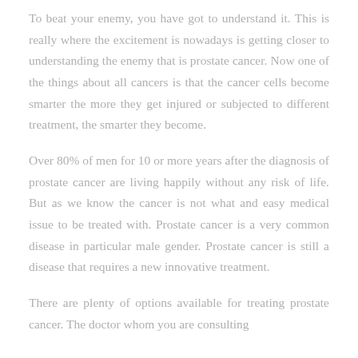To beat your enemy, you have got to understand it. This is really where the excitement is nowadays is getting closer to understanding the enemy that is prostate cancer. Now one of the things about all cancers is that the cancer cells become smarter the more they get injured or subjected to different treatment, the smarter they become.
Over 80% of men for 10 or more years after the diagnosis of prostate cancer are living happily without any risk of life. But as we know the cancer is not what and easy medical issue to be treated with. Prostate cancer is a very common disease in particular male gender. Prostate cancer is still a disease that requires a new innovative treatment.
There are plenty of options available for treating prostate cancer. The doctor whom you are consulting